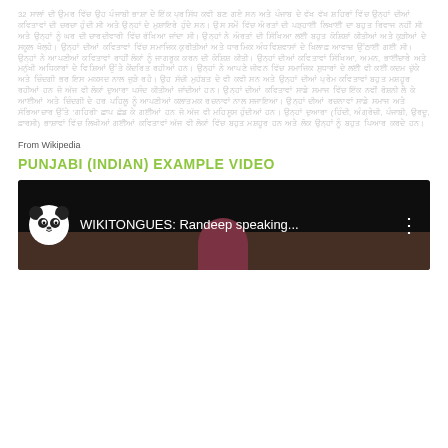32 ਸਾਲਾਂ ਦੀ ਉਮਰ ਵਿੱਚ ਉਹ ਪੰਜਾਬੀ ਭਾਸ਼ਾ ਦੇ ਇੱਕ ਪ੍ਰਸਿੱਧ ਕਵੀ ਬਣ ਗਏ ਸਨ ਅਤੇ ਪੰਜਾਬ ਦੇ ਵੱਖ ਵੱਖ ਸ਼ਹਿਰਾਂ ਵਿੱਚ ਉਨ੍ਹਾਂ ਦੀਆਂ ਕਵਿਤਾਵਾਂ ਦੀ ਚਰਚਾ ਹੁੰਦੀ ਸੀ ਅਤੇ ਉਨ੍ਹਾਂ ਦੇ ਮੁਸ਼ਾਇਰੇ ਹੁੰਦੇ ਸਨ। ਉਸ ਸਮੇਂ ਵਿੱਚ ਔਰਤਾਂ ਦੀ ਪੜ੍ਹਾਈ ਲਿਖਾਈ ਦਾ ਬਹੁਤ ਰਿਵਾਜ ਨਹੀਂ ਸੀ ਅਤੇ ਉਨ੍ਹਾਂ ਨੂੰ ਘਰ ਦੀ ਚਾਰਦੀਵਾਰੀ ਵਿੱਚ ਰੱਖਿਆ ਜਾਂਦਾ ਸੀ। ਉਨ੍ਹਾਂ ਨੇ ਔਰਤਾਂ ਦੀ ਸਿੱਖਿਆ ਲਈ ਬਹੁਤ ਕੋਸ਼ਿਸ਼ਾਂ ਕੀਤੀਆਂ ਅਤੇ ਕੁੜੀਆਂ ਦੇ ਸਕੂਲ ਖੋਲ੍ਹੇ। ਉਨ੍ਹਾਂ ਦੀਆਂ ਕਵਿਤਾਵਾਂ ਵਿੱਚ ਸਮਾਜਿਕ ਕੁਰੀਤੀਆਂ ਅਤੇ ਧਾਰਮਿਕ ਅੰਧਵਿਸ਼ਵਾਸਾਂ ਦੇ ਖਿਲਾਫ਼ ਆਵਾਜ਼ ਉੱਠਾਈ ਗਈ ਸੀ। ਉਨ੍ਹਾਂ ਨੇ ਆਪਣੀਆਂ ਕਵਿਤਾਵਾਂ ਰਾਹੀਂ ਲੋਕਾਂ ਨੂੰ ਜਾਗਰੂਕ ਕਰਨ ਦੀ ਕੋਸ਼ਿਸ਼ ਕੀਤੀ। ਉਨ੍ਹਾਂ ਦੀਆਂ ਕਵਿਤਾਵਾਂ ਸਿੱਖਿਆ, ਅਮਨ, ਭਾਈਚਾਰੇ ਅਤੇ ਮਨੁੱਖੀ ਅਧਿਕਾਰਾਂ ਦੇ ਵਿਸ਼ਿਆਂ ਉੱਤੇ ਕੇਂਦਰਿਤ ਰਹੀਆਂ ਹਨ। ਉਨ੍ਹਾਂ ਨੇ ਆਪਣੇ ਜੀਵਨ ਵਿੱਚ ਸਮਾਜਿਕ ਸੁਧਾਰਾਂ ਦੇ ਲਈ ਵੀ ਕਈ ਕਦਮ ਚੁੱਕੇ ਅਤੇ ਜ਼ਿੰਦਗੀ ਭਰ ਇਸ ਮਕਸਦ ਨਾਲ ਜੁੜੇ ਰਹੇ। ਉਹ ਸੱਚੀ ਮੁਹੱਬਤ ਦੇ ਵੀ ਕਵੀ ਸਨ ਅਤੇ ਉਨ੍ਹਾਂ ਦੀਆਂ ਪ੍ਰੇਮ ਕਵਿਤਾਵਾਂ ਬਹੁਤ ਮਸ਼ਹੂਰ ਰਹੀਆਂ ਹਨ ਜੋ ਅੱਜ ਵੀ ਲੋਕਾਂ ਦੁਆਰਾ ਪਸੰਦ ਕੀਤੀਆਂ ਜਾਂਦੀਆਂ ਹਨ। ਉਨ੍ਹਾਂ ਦੀਆਂ ਕਵਿਤਾਵਾਂ ਸਾਡੇ ਸਮਾਜ ਵਿੱਚ ਇੱਕ ਨਵੀਂ ਰੋਸ਼ਨੀ ਲੈ ਕੇ ਆਈਆਂ ਅਤੇ ਜ਼ਿੰਦਗੀ ਦੇ ਹਰ ਪਹਿਲੂ ਨੂੰ ਆਪਣੀਆਂ ਕਲਾਤਮਕ ਰਚਨਾਵਾਂ ਨਾਲ ਸਜਾਇਆ। ਉਨ੍ਹਾਂ ਦੀਆਂ ਰਚਨਾਵਾਂ ਸਾਡੇ ਸਮਾਜ ਅਤੇ ਸੱਭਿਆਚਾਰ ਉੱਤੇ 'ਗਹਿਰੀ' ਛਾਪ ਛੱਡ ਕੇ ਗਈਆਂ ਹਨ ਜੋ ਅੱਜ ਵੀ ਮਹਿਸੂਸ ਹੁੰਦੀਆਂ ਹਨ। ਉਨ੍ਹਾਂ ਦੁਆਰਾ (ਹਿੰਦੀ, ਅੰਗ੍ਰੇਜ਼ੀ, ਪੰਜਾਬੀ, ਉਰਦੂ, ਫ਼ਾਰਸੀ) ਭਾਸ਼ਾਵਾਂ ਵਿੱਚ ਲਿਖੀਆਂ ਗਈਆਂ ਕਵਿਤਾਵਾਂ ਅੱਜ ਵੀ ਲੋਕਾਂ ਵਿੱਚ ਬਹੁਤ ਮਸ਼ਹੂਰ ਹਨ ਅਤੇ ਲੋਕ ਉਨ੍ਹਾਂ ਨੂੰ ਬਹੁਤ ਪਿਆਰ ਕਰਦੇ ਹਨ।
From Wikipedia
PUNJABI (INDIAN) EXAMPLE VIDEO
[Figure (screenshot): YouTube video thumbnail showing WIKITONGUES: Randeep speaking... with a panda logo icon on dark background, three-dot menu icon on right, and a person visible at bottom center]